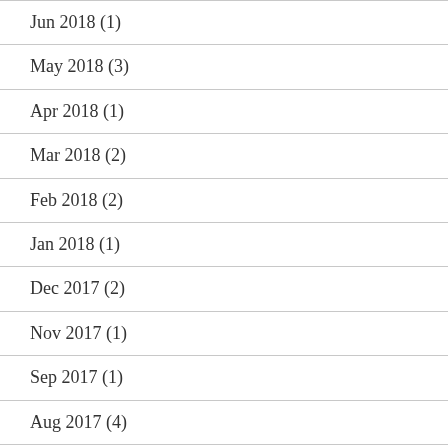Jun 2018 (1)
May 2018 (3)
Apr 2018 (1)
Mar 2018 (2)
Feb 2018 (2)
Jan 2018 (1)
Dec 2017 (2)
Nov 2017 (1)
Sep 2017 (1)
Aug 2017 (4)
Jul 2017 (3)